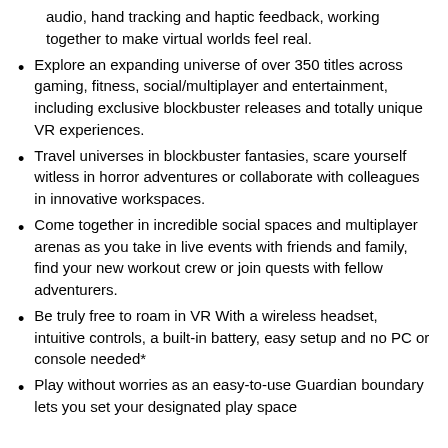audio, hand tracking and haptic feedback, working together to make virtual worlds feel real.
Explore an expanding universe of over 350 titles across gaming, fitness, social/multiplayer and entertainment, including exclusive blockbuster releases and totally unique VR experiences.
Travel universes in blockbuster fantasies, scare yourself witless in horror adventures or collaborate with colleagues in innovative workspaces.
Come together in incredible social spaces and multiplayer arenas as you take in live events with friends and family, find your new workout crew or join quests with fellow adventurers.
Be truly free to roam in VR With a wireless headset, intuitive controls, a built-in battery, easy setup and no PC or console needed*
Play without worries as an easy-to-use Guardian boundary lets you set your designated play space